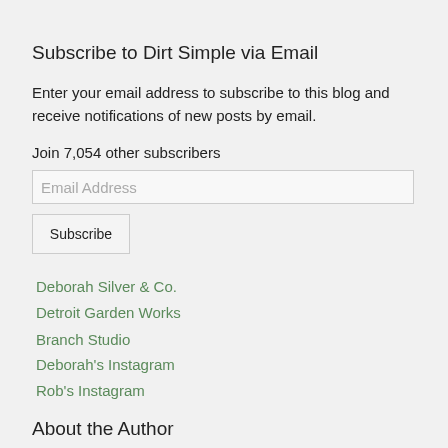Subscribe to Dirt Simple via Email
Enter your email address to subscribe to this blog and receive notifications of new posts by email.
Join 7,054 other subscribers
Deborah Silver & Co.
Detroit Garden Works
Branch Studio
Deborah's Instagram
Rob's Instagram
About the Author